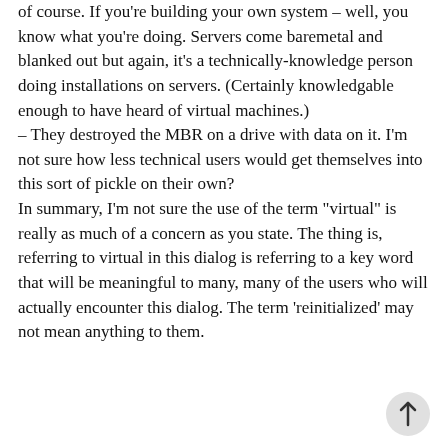of course. If you're building your own system – well, you know what you're doing. Servers come baremetal and blanked out but again, it's a technically-knowledge person doing installations on servers. (Certainly knowledgable enough to have heard of virtual machines.)
– They destroyed the MBR on a drive with data on it. I'm not sure how less technical users would get themselves into this sort of pickle on their own?
In summary, I'm not sure the use of the term "virtual" is really as much of a concern as you state. The thing is, referring to virtual in this dialog is referring to a key word that will be meaningful to many, many of the users who will actually encounter this dialog. The term 'reinitialized' may not mean anything to them.